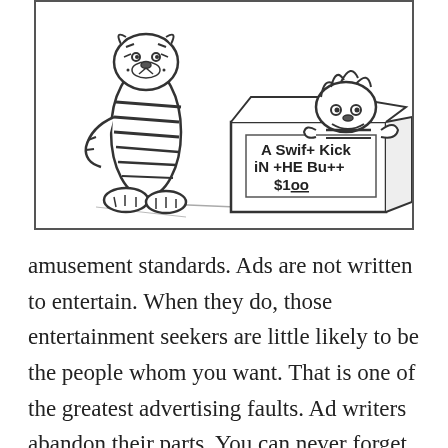[Figure (illustration): Calvin and Hobbes comic strip panel. Hobbes (tiger) stands on the left with striped body. Calvin is inside a cardboard box on the right. The box has a sign reading 'A Swift Kick IN THE Butt $1.00'.]
amusement standards. Ads are not written to entertain. When they do, those entertainment seekers are little likely to be the people whom you want. That is one of the greatest advertising faults. Ad writers abandon their parts. You can never forget you are salespeople, not a